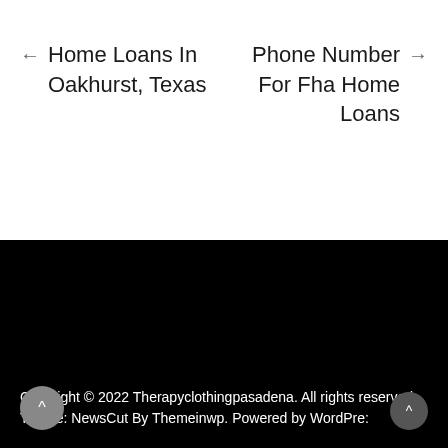← Home Loans In Oakhurst, Texas
Phone Number For Fha Home Loans →
Copyright © 2022 Therapyclothingpasadena. All rights reserved.
Theme: NewsCut By Themeinwp. Powered by WordPre: